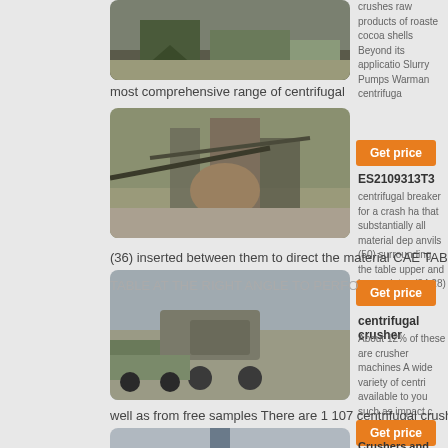[Figure (photo): Photo of a quarry/mining site with machinery and crushed stone]
crushes raw products of roasted cocoa shells Beyond its application Slurry Pumps Warman centrifuga
most comprehensive range of centrifugal
[Figure (photo): Photo of industrial crushing/screening plant with conveyor belts]
Get price
ES2109313T3
centrifugal breaker for a crash ha that substantially all material dep anvils (50) surrounding the table upper and lower plates (34 28) IN
(36) inserted between them to direct the material CAE TABLE BY CENTRIF
TABLE AT THE RIGHT ANGLE TO PERFO
[Figure (photo): Photo of trucks and earth-moving equipment at a mining/quarry site]
Get price
centrifugal crusher
About 12% of these are crusher machines A wide variety of centri available to you such as impact c roller crusher You can also choos
well as from free samples There are 1 107 centrifugal crusher suppliers mai
[Figure (photo): Photo of industrial crane/lifting equipment at construction or mining site]
Get price
Crushers and Their Types – Is